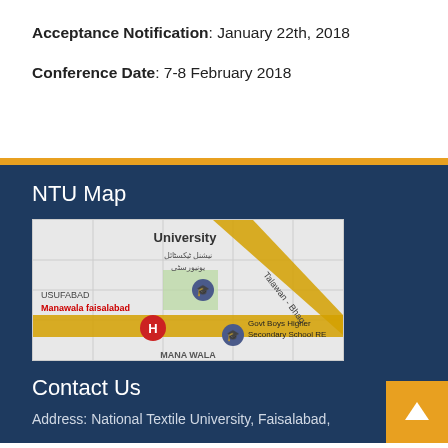Acceptance Notification: January 22th, 2018
Conference Date: 7-8 February 2018
NTU Map
[Figure (map): Google map showing NTU (National Textile University) area in Manawala Faisalabad, with Govt Boys Higher Secondary School RE visible, and Talawan-Bhag road crossing diagonally]
Contact Us
Address: National Textile University, Faisalabad,